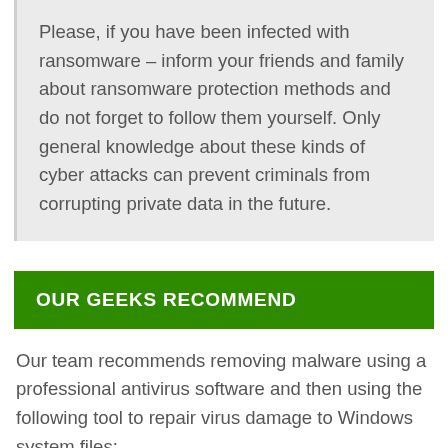Please, if you have been infected with ransomware – inform your friends and family about ransomware protection methods and do not forget to follow them yourself. Only general knowledge about these kinds of cyber attacks can prevent criminals from corrupting private data in the future.
OUR GEEKS RECOMMEND
Our team recommends removing malware using a professional antivirus software and then using the following tool to repair virus damage to Windows system files: